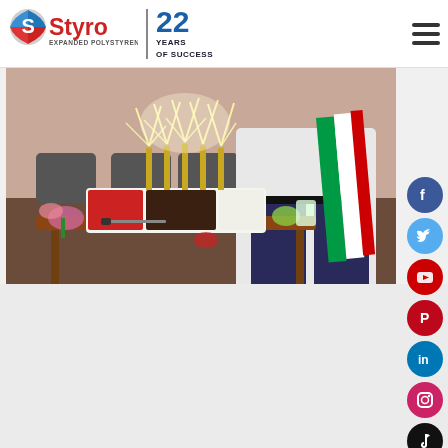Styro — Expanded Polystyrene Solutions | 22 Years of Success
[Figure (photo): Birthday/anniversary celebration photo showing a decorated cake with sparkler candles on a table, person wearing UAE flag sash standing behind it]
[Figure (infographic): Social media sidebar icons: Facebook, Twitter, YouTube, Pinterest, LinkedIn, Instagram, TikTok]